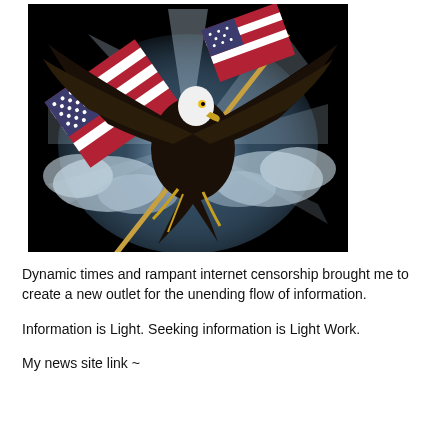[Figure (illustration): Patriotic illustration of a bald eagle with wings spread, clutching a flagpole bearing the American flag, set against a dramatic dark sky with rays of light and clouds]
Dynamic times and rampant internet censorship brought me to create a new outlet for the unending flow of information.
Information is Light. Seeking information is Light Work.
My news site link ~